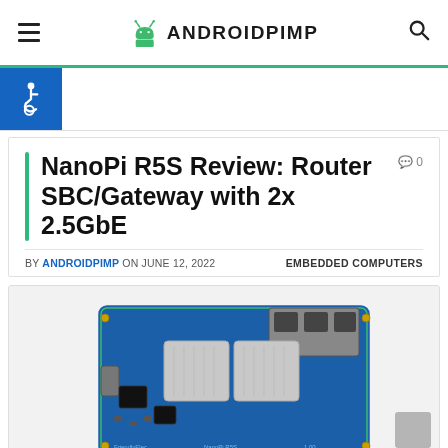ANDROIDPIMP
NanoPi R5S Review: Router SBC/Gateway with 2x 2.5GbE
BY ANDROIDPIMP ON JUNE 12, 2022   EMBEDDED COMPUTERS
[Figure (photo): NanoPi R5S single-board computer (blue PCB with Ethernet ports and heatsink covers) photographed from top-down angle.]